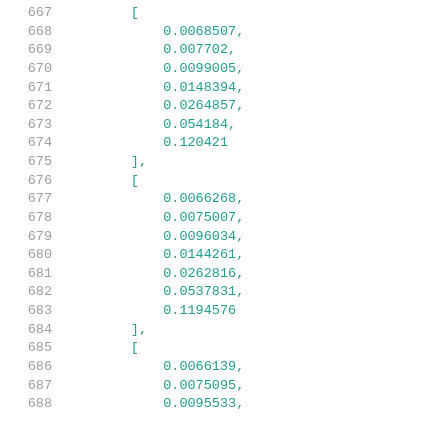667  [
668      0.0068507,
669      0.007702,
670      0.0099005,
671      0.0148394,
672      0.0264857,
673      0.054184,
674      0.120421
675  ],
676  [
677      0.0066268,
678      0.0075007,
679      0.0096034,
680      0.0144261,
681      0.0262816,
682      0.0537831,
683      0.1194576
684  ],
685  [
686      0.0066139,
687      0.0075095,
688      0.0095533